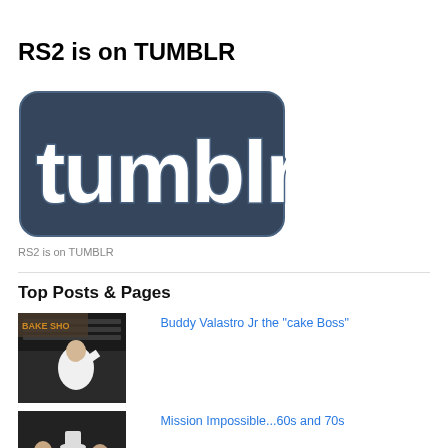RS2 is on TUMBLR
[Figure (logo): Tumblr logo - stylized word 'tumblr.' in white letters on a blue-grey rounded rectangle background]
RS2 is on TUMBLR
Top Posts & Pages
[Figure (photo): Person in white chef uniform at a bakery shop]
Buddy Valastro Jr the "cake Boss"
[Figure (photo): Group of people, appears to be actors/cast photo in dark setting]
Mission Impossible...60s and 70s
[Figure (photo): Partial view of image with blue tones]
PARTNERSHIP WINDOWS MEDIA GUIDE and